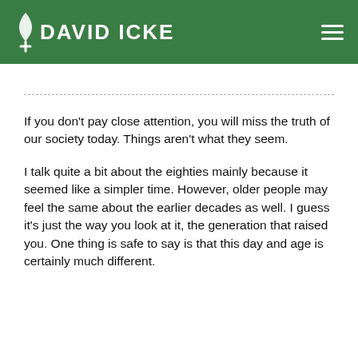DAVID ICKE
If you don't pay close attention, you will miss the truth of our society today. Things aren't what they seem.
I talk quite a bit about the eighties mainly because it seemed like a simpler time. However, older people may feel the same about the earlier decades as well. I guess it's just the way you look at it, the generation that raised you. One thing is safe to say is that this day and age is certainly much different.